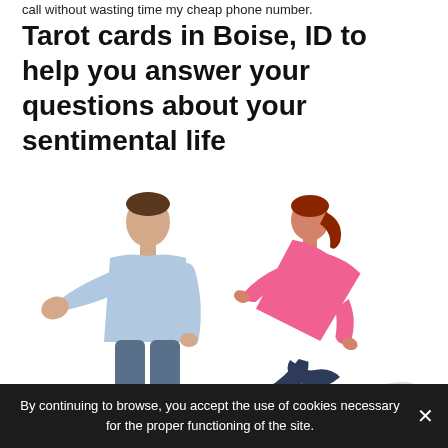call without wasting time my cheap phone number.
Tarot cards in Boise, ID to help you answer your questions about your sentimental life
[Figure (photo): A man holding out his hand in a stop gesture toward a woman who is leaning forward with hands on hips, both on white background.]
By continuing to browse, you accept the use of cookies necessary for the proper functioning of the site.